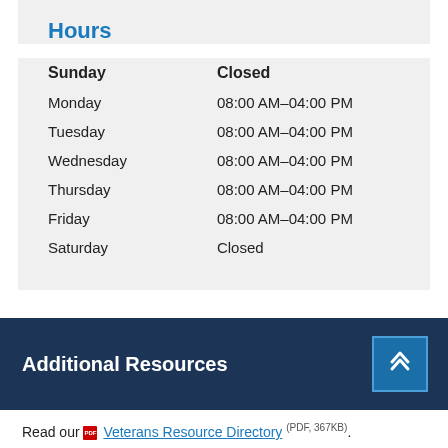Hours
| Sunday | Closed |
| Monday | 08:00 AM–04:00 PM |
| Tuesday | 08:00 AM–04:00 PM |
| Wednesday | 08:00 AM–04:00 PM |
| Thursday | 08:00 AM–04:00 PM |
| Friday | 08:00 AM–04:00 PM |
| Saturday | Closed |
Additional Resources
Read our Veterans Resource Directory (PDF, 367KB).